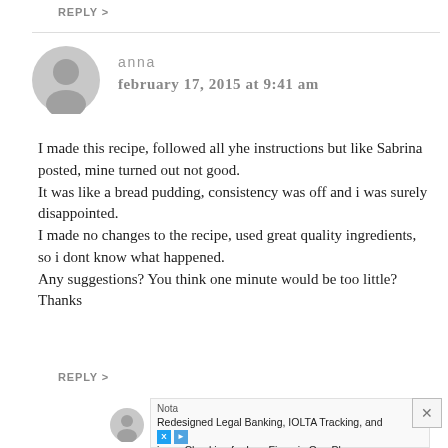REPLY >
anna
february 17, 2015 at 9:41 am
I made this recipe, followed all yhe instructions but like Sabrina posted, mine turned out not good. It was like a bread pudding, consistency was off and i was surely disappointed. I made no changes to the recipe, used great quality ingredients, so i dont know what happened. Any suggestions? You think one minute would be too little? Thanks
REPLY >
Nota
Redesigned Legal Banking, IOLTA Tracking, and usiness Checking for Law Firms in One Place